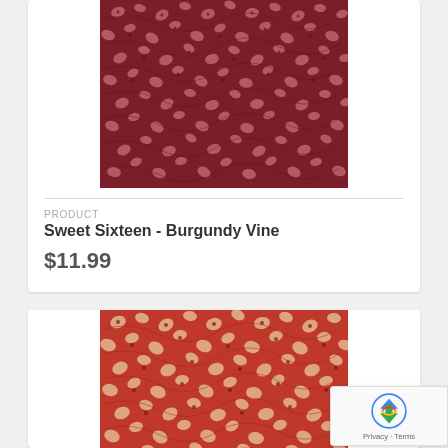[Figure (photo): Close-up photo of Sweet Sixteen - Burgundy Vine fabric with dark burgundy background and scattered pink floral/leaf pattern]
PRODUCT
Sweet Sixteen - Burgundy Vine
$11.99
[Figure (photo): Close-up photo of a red fabric with scattered cream/beige leaf and floral pattern, similar to Sweet Sixteen design]
[Figure (other): reCAPTCHA badge with Privacy and Terms links]